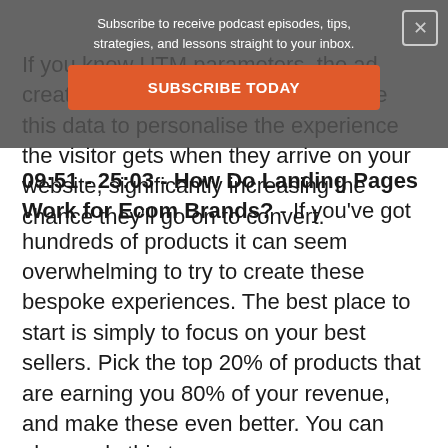If you know UTM parameters, the ad creative, messaging, and use this data to personalise the experience the visitor gets when they arrive on your website, significantly increasing the chance they'll go on to convert.
Subscribe to receive podcast episodes, tips, strategies, and lessons straight to your inbox.
SUBSCRIBE TODAY
09:51 - 25:03 - How Do Landing Pages Work for Ecom Brands? - If you've got hundreds of products it can seem overwhelming to try to create these bespoke experiences. The best place to start is simply to focus on your best sellers. Pick the top 20% of products that are earning you 80% of your revenue, and make these even better. You can also apply this to